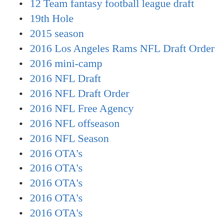12 Team fantasy football league draft
19th Hole
2015 season
2016 Los Angeles Rams NFL Draft Order
2016 mini-camp
2016 NFL Draft
2016 NFL Draft Order
2016 NFL Free Agency
2016 NFL offseason
2016 NFL Season
2016 OTA's
2016 OTA's
2016 OTA's
2016 OTA's
2016 OTA's
2016 OTA's
2016 OTA's